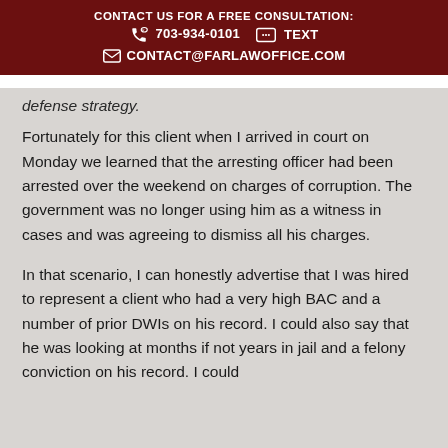CONTACT US FOR A FREE CONSULTATION:
703-934-0101   TEXT
CONTACT@FARLAWOFFICE.COM
defense strategy.
Fortunately for this client when I arrived in court on Monday we learned that the arresting officer had been arrested over the weekend on charges of corruption. The government was no longer using him as a witness in cases and was agreeing to dismiss all his charges.
In that scenario, I can honestly advertise that I was hired to represent a client who had a very high BAC and a number of prior DWIs on his record. I could also say that he was looking at months if not years in jail and a felony conviction on his record. I could